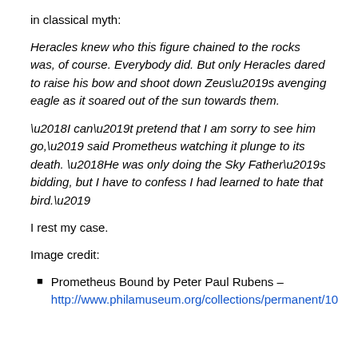in classical myth:
Heracles knew who this figure chained to the rocks was, of course.  Everybody did.  But only Heracles dared to raise his bow and shoot down Zeus's avenging eagle as it soared out of the sun towards them.
‘I can’t pretend that I am sorry to see him go,’ said Prometheus watching it plunge to its death.  ‘He was only doing the Sky Father’s bidding, but I have to confess I had learned to hate that bird.’
I rest my case.
Image credit:
Prometheus Bound by Peter Paul Rubens – http://www.philamuseum.org/collections/permanent/10